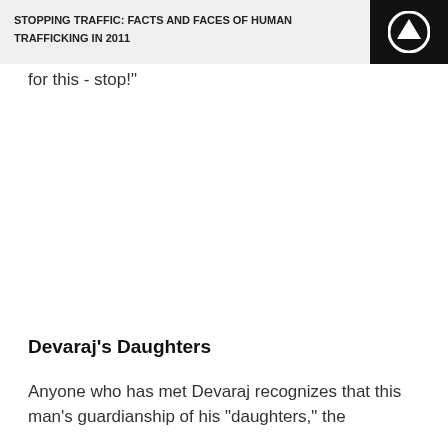STOPPING TRAFFIC: FACTS AND FACES OF HUMAN TRAFFICKING IN 2011
for this - stop!"
Devaraj's Daughters
Anyone who has met Devaraj recognizes that this man's guardianship of his "daughters," the